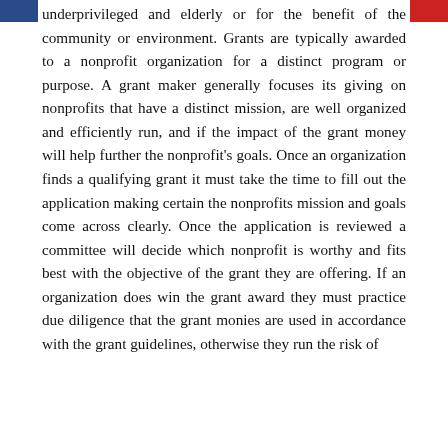underprivileged and elderly or for the benefit of the community or environment. Grants are typically awarded to a nonprofit organization for a distinct program or purpose. A grant maker generally focuses its giving on nonprofits that have a distinct mission, are well organized and efficiently run, and if the impact of the grant money will help further the nonprofit's goals. Once an organization finds a qualifying grant it must take the time to fill out the application making certain the nonprofits mission and goals come across clearly. Once the application is reviewed a committee will decide which nonprofit is worthy and fits best with the objective of the grant they are offering. If an organization does win the grant award they must practice due diligence that the grant monies are used in accordance with the grant guidelines, otherwise they run the risk of